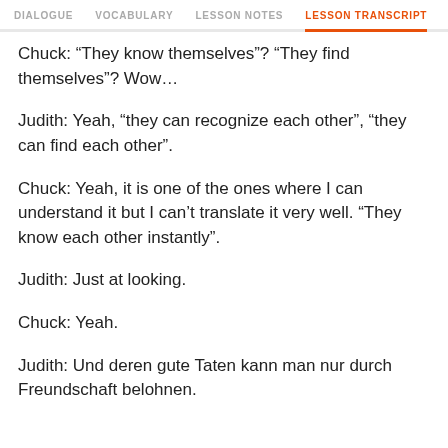DIALOGUE  VOCABULARY  LESSON NOTES  LESSON TRANSCRIPT  C
Chuck: “They know themselves”? “They find themselves”? Wow…
Judith: Yeah, “they can recognize each other”, “they can find each other”.
Chuck: Yeah, it is one of the ones where I can understand it but I can’t translate it very well. “They know each other instantly”.
Judith: Just at looking.
Chuck: Yeah.
Judith: Und deren gute Taten kann man nur durch Freundschaft belohnen.